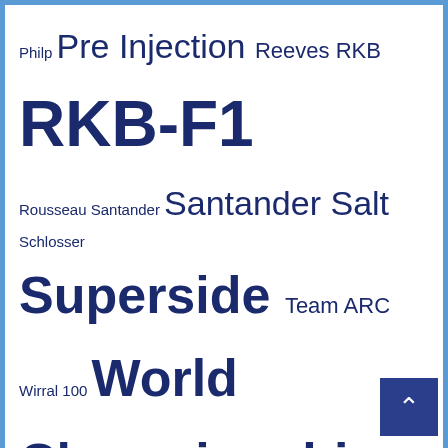Philp Pre Injection Reeves RKB RKB-F1 Rousseau Santander Santander Salt Schlosser Superside Team ARC Wirral 100 World Championship
Categories
ACU FSRA British F2 sidecar championship (34)
Ads (6)
Bears with BHR (13)
Bemsee (26)
Bonovo Action (8)
British Sidecar Championship (86)